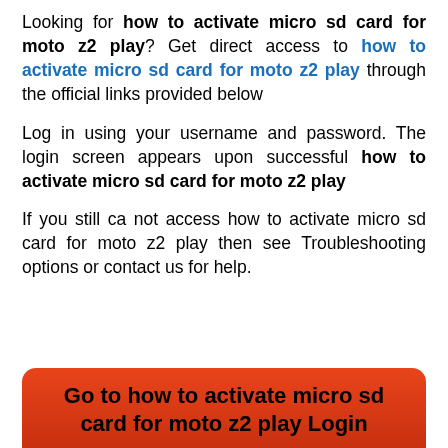Looking for how to activate micro sd card for moto z2 play? Get direct access to how to activate micro sd card for moto z2 play through the official links provided below
Log in using your username and password. The login screen appears upon successful how to activate micro sd card for moto z2 play
If you still ca not access how to activate micro sd card for moto z2 play then see Troubleshooting options or contact us for help.
Go to how to activate micro sd card for moto z2 play Login